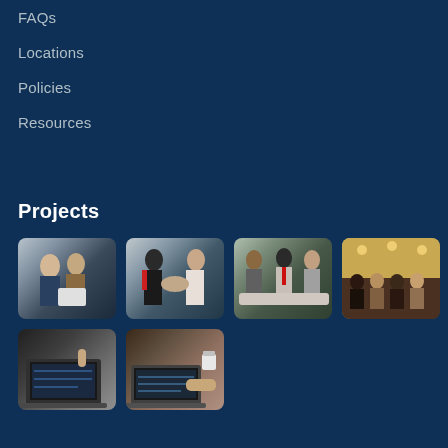FAQs
Locations
Policies
Resources
Projects
[Figure (photo): Six thumbnail photos arranged in a 4+2 grid showing business people in various meeting and collaboration scenarios, and people working on laptops. A green circular up-arrow button overlaps the fourth photo in the first row.]